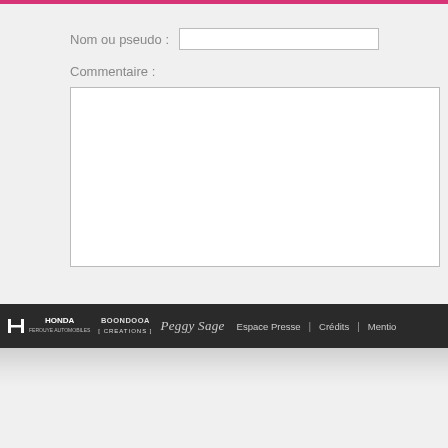Nom ou pseudo :
Commentaire :
HONDA | BOONDOOA [ CREATIONS ] | Peggy Sage | Espace Presse | Crédits | Mentio...